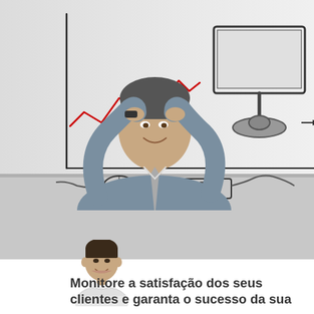[Figure (photo): A smiling businessman leaning back with hands behind his head, in front of a whiteboard with red line charts. A sketched computer monitor and keyboard are visible on the desk.]
[Figure (photo): A small portrait photo of a dark-haired man in a white shirt with arms crossed, smiling, partially overlapping the gray and white sections.]
Monitore a satisfação dos seus clientes e garanta o sucesso da sua